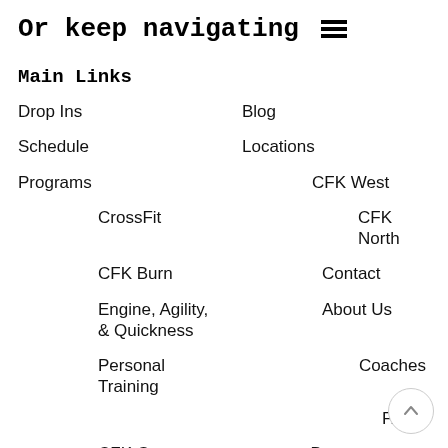Or keep navigating
Main Links
Drop Ins
Blog
Schedule
Locations
Programs
CFK West
CrossFit
CFK North
CFK Burn
Contact
Engine, Agility, & Quickness
About Us
Coaches
Personal Training
FAQs
CFK Go
Drew Perkerson Scholarship
Membership Options and Pricing
Success Stories